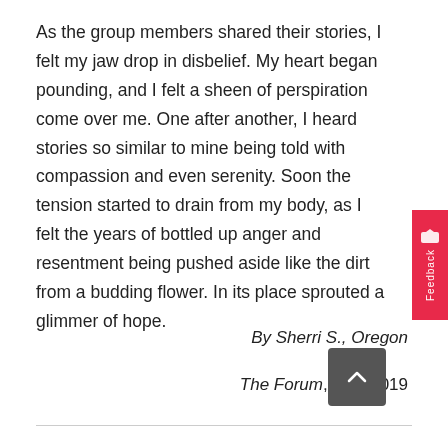As the group members shared their stories, I felt my jaw drop in disbelief. My heart began pounding, and I felt a sheen of perspiration come over me. One after another, I heard stories so similar to mine being told with compassion and even serenity. Soon the tension started to drain from my body, as I felt the years of bottled up anger and resentment being pushed aside like the dirt from a budding flower. In its place sprouted a glimmer of hope.
By Sherri S., Oregon
The Forum, April 2019